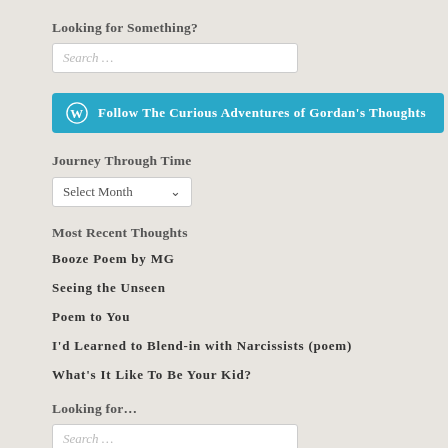Looking for Something?
Search …
[Figure (other): Follow The Curious Adventures of Gordan's Thoughts button with WordPress icon]
Journey Through Time
Select Month
Most Recent Thoughts
Booze Poem by MG
Seeing the Unseen
Poem to You
I'd Learned to Blend-in with Narcissists (poem)
What's It Like To Be Your Kid?
Looking for…
Search …